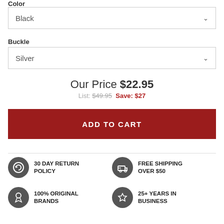Color
Black
Buckle
Silver
Our Price $22.95
List: $49.95  Save: $27
ADD TO CART
30 DAY RETURN POLICY
FREE SHIPPING OVER $50
100% ORIGINAL BRANDS
25+ YEARS IN BUSINESS